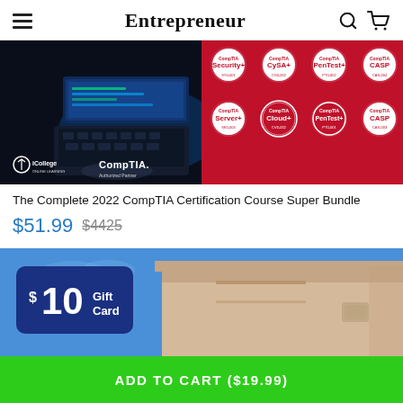Entrepreneur
[Figure (photo): iCollege CompTIA certification course bundle banner showing a person typing on a laptop on the left and CompTIA certification badge icons (Server+, Cloud+, PenTest+, CASP, etc.) on a red background on the right]
The Complete 2022 CompTIA Certification Course Super Bundle
$51.99  $4425
[Figure (photo): Lowe's store building with blue sky and a $10 Gift Card badge overlay in the lower left]
ADD TO CART ($19.99)